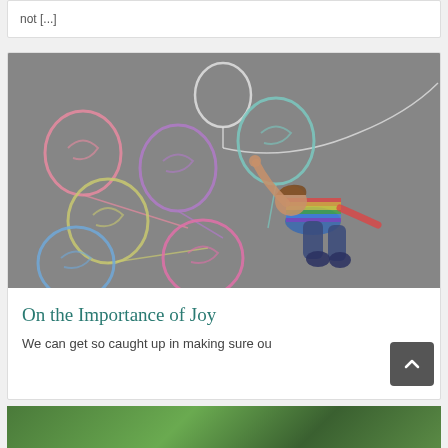not [...]
[Figure (photo): Aerial view of a child lying on asphalt surrounded by colorful chalk-drawn balloons. The child is wearing a rainbow-striped sweater and jeans, lying on their back with one arm raised. Chalk balloons in pink, purple, teal, yellow, blue, and light purple are drawn around them with chalk string lines.]
On the Importance of Joy
We can get so caught up in making sure ou...